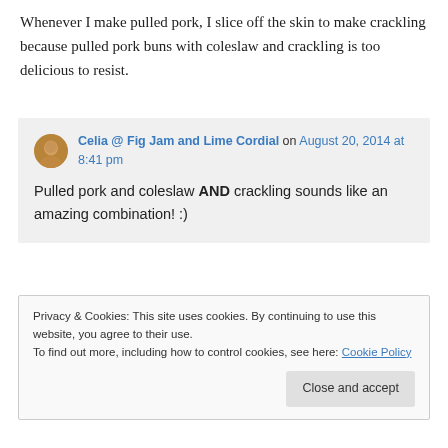Whenever I make pulled pork, I slice off the skin to make crackling because pulled pork buns with coleslaw and crackling is too delicious to resist.
Celia @ Fig Jam and Lime Cordial on August 20, 2014 at 8:41 pm
Pulled pork and coleslaw AND crackling sounds like an amazing combination! :)
Privacy & Cookies: This site uses cookies. By continuing to use this website, you agree to their use.
To find out more, including how to control cookies, see here: Cookie Policy
Close and accept